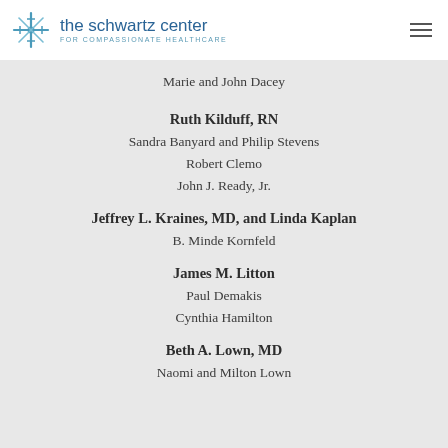the schwartz center FOR COMPASSIONATE HEALTHCARE
Marie and John Dacey
Ruth Kilduff, RN
Sandra Banyard and Philip Stevens
Robert Clemo
John J. Ready, Jr.
Jeffrey L. Kraines, MD, and Linda Kaplan
B. Minde Kornfeld
James M. Litton
Paul Demakis
Cynthia Hamilton
Beth A. Lown, MD
Naomi and Milton Lown